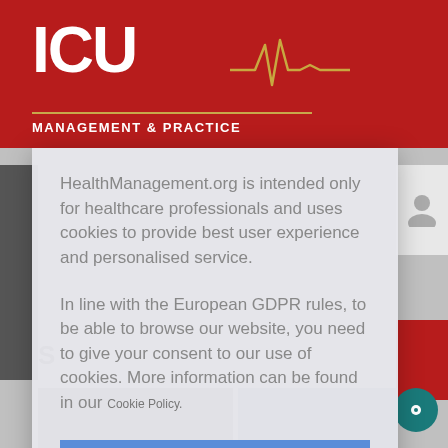ICU MANAGEMENT & PRACTICE
HealthManagement.org is intended only for healthcare professionals and uses cookies to provide best user experience and personalised service.
In line with the European GDPR rules, to be able to browse our website, you need to give your consent to our use of cookies. More information can be found in our Cookie Policy.
I am a healthcare professional and consent to the use of cookies